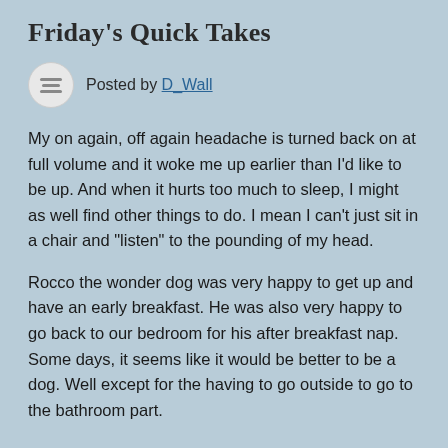Friday's Quick Takes
Posted by D_Wall
My on again, off again headache is turned back on at full volume and it woke me up earlier than I'd like to be up. And when it hurts too much to sleep, I might as well find other things to do. I mean I can't just sit in a chair and "listen" to the pounding of my head.
Rocco the wonder dog was very happy to get up and have an early breakfast. He was also very happy to go back to our bedroom for his after breakfast nap. Some days, it seems like it would be better to be a dog. Well except for the having to go outside to go to the bathroom part.